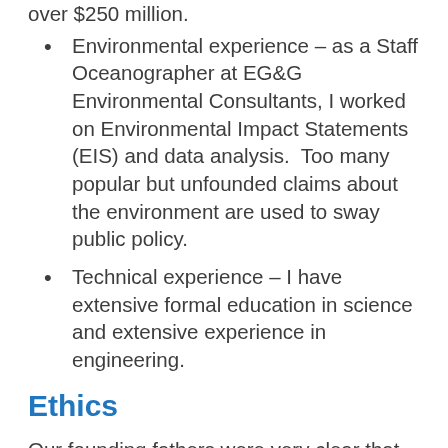Environmental experience – as a Staff Oceanographer at EG&G Environmental Consultants, I worked on Environmental Impact Statements (EIS) and data analysis.  Too many popular but unfounded claims about the environment are used to sway public policy.
Technical experience – I have extensive formal education in science and extensive experience in engineering.
Ethics
Our founding fathers were very clear that the success of our system of government depends on a moral people.  With keys to public tax roles and with opportunities to influence